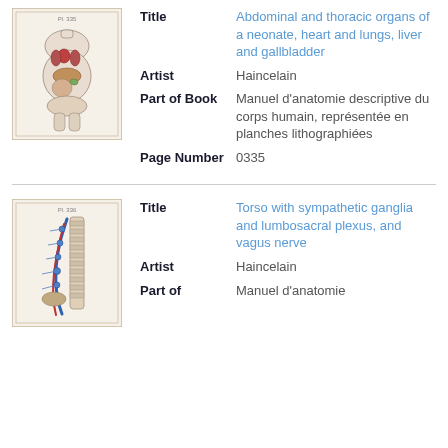[Figure (illustration): Anatomical illustration of abdominal and thoracic organs of a neonate showing heart, lungs, liver and gallbladder]
Title: Abdominal and thoracic organs of a neonate, heart and lungs, liver and gallbladder
Artist: Haincelain
Part of Book: Manuel d'anatomie descriptive du corps humain, représentée en planches lithographiées
Page Number: 0335
[Figure (illustration): Anatomical illustration of torso with sympathetic ganglia and lumbosacral plexus, and vagus nerve]
Title: Torso with sympathetic ganglia and lumbosacral plexus, and vagus nerve
Artist: Haincelain
Part of: Manuel d'anatomie